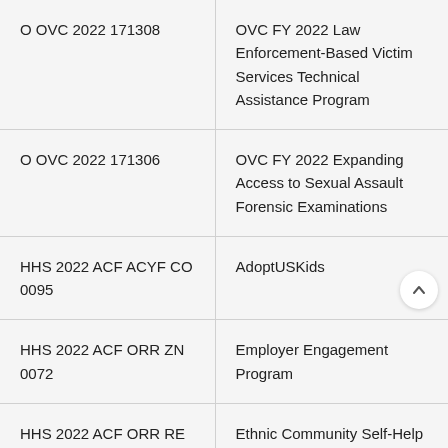| Grant Number | Program Name |
| --- | --- |
| O OVC 2022 171308 | OVC FY 2022 Law Enforcement-Based Victim Services Technical Assistance Program |
| O OVC 2022 171306 | OVC FY 2022 Expanding Access to Sexual Assault Forensic Examinations |
| HHS 2022 ACF ACYF CO 0095 | AdoptUSKids |
| HHS 2022 ACF ORR ZN 0072 | Employer Engagement Program |
| HHS 2022 ACF ORR RE 0048 | Ethnic Community Self-Help Program |